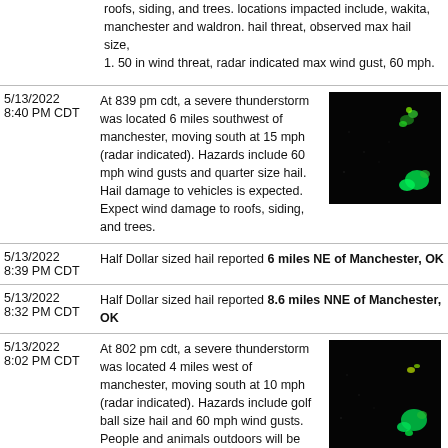roofs, siding, and trees. locations impacted include, wakita, manchester and waldron. hail threat, observed max hail size, 1. 50 in wind threat, radar indicated max wind gust, 60 mph.
| Date/Time | Description | Image |
| --- | --- | --- |
| 5/13/2022 8:40 PM CDT | At 839 pm cdt, a severe thunderstorm was located 6 miles southwest of manchester, moving south at 15 mph (radar indicated). Hazards include 60 mph wind gusts and quarter size hail. Hail damage to vehicles is expected. Expect wind damage to roofs, siding, and trees. | [radar image] |
| 5/13/2022 8:39 PM CDT | Half Dollar sized hail reported 6 miles NE of Manchester, OK |  |
| 5/13/2022 8:32 PM CDT | Half Dollar sized hail reported 8.6 miles NNE of Manchester, OK |  |
| 5/13/2022 8:02 PM CDT | At 802 pm cdt, a severe thunderstorm was located 4 miles west of manchester, moving south at 10 mph (radar indicated). Hazards include golf ball size hail and 60 mph wind gusts. People and animals outdoors will be injured. expect hail damage to roofs, siding, windows, and vehicles. Expect wind damage to roofs, siding, and trees. | [radar image] |